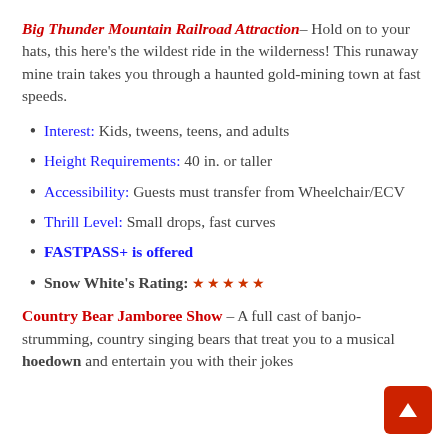Big Thunder Mountain Railroad Attraction – Hold on to your hats, this here's the wildest ride in the wilderness! This runaway mine train takes you through a haunted gold-mining town at fast speeds.
Interest: Kids, tweens, teens, and adults
Height Requirements: 40 in. or taller
Accessibility: Guests must transfer from Wheelchair/ECV
Thrill Level: Small drops, fast curves
FASTPASS+ is offered
Snow White's Rating: ★★★★★
Country Bear Jamboree Show – A full cast of banjo-strumming, country singing bears that treat you to a musical hoedown and entertain you with their jokes